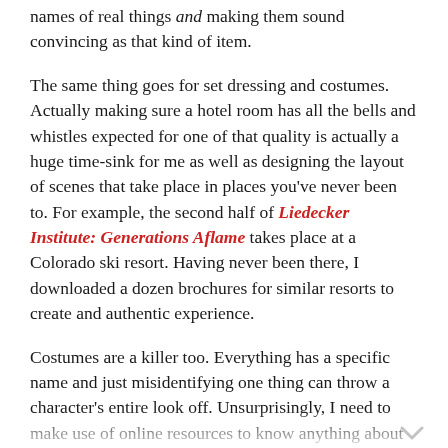names of real things and making them sound convincing as that kind of item.
The same thing goes for set dressing and costumes. Actually making sure a hotel room has all the bells and whistles expected for one of that quality is actually a huge time-sink for me as well as designing the layout of scenes that take place in places you've never been to. For example, the second half of Liedecker Institute: Generations Aflame takes place at a Colorado ski resort. Having never been there, I downloaded a dozen brochures for similar resorts to create and authentic experience.
Costumes are a killer too. Everything has a specific name and just misidentifying one thing can throw a character's entire look off. Unsurprisingly, I need to make use of online resources to know anything about women's clothing.